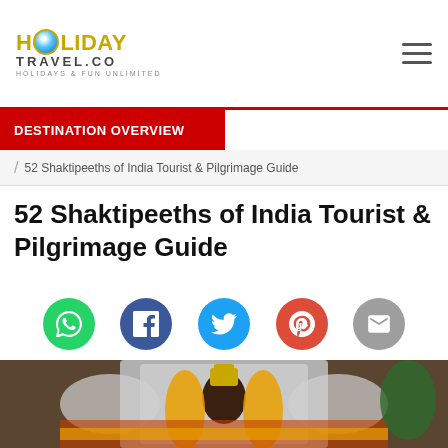HOLIDAY TRAVEL.CO — HOLIDAYS & FUN UNLIMITED
DESTINATION OVERVIEW
/ 52 Shaktipeeths of India Tourist & Pilgrimage Guide
52 Shaktipeeths of India Tourist & Pilgrimage Guide
[Figure (infographic): Social sharing icons: WhatsApp (green), Facebook (blue), Twitter (light blue), Google+ (red), Email (grey)]
[Figure (photo): A decorated Hindu deity idol adorned with marigold garlands and ornate silver backdrop with angel carvings, a red contact badge in lower left corner]